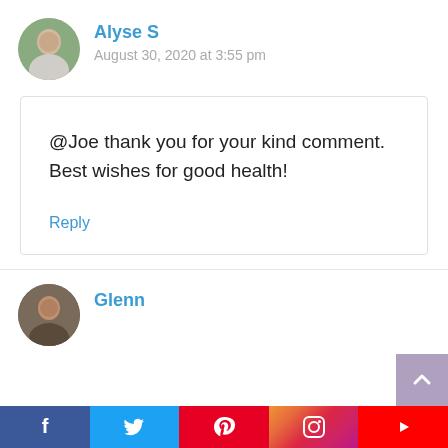Alyse S
August 30, 2020 at 3:55 pm
@Joe thank you for your kind comment. Best wishes for good health!
Reply
Glenn
[Figure (illustration): Social media share bar with Facebook, Twitter, Pinterest, Instagram, YouTube icons]
[Figure (illustration): Scroll to top button with upward chevron, purple/mauve background]